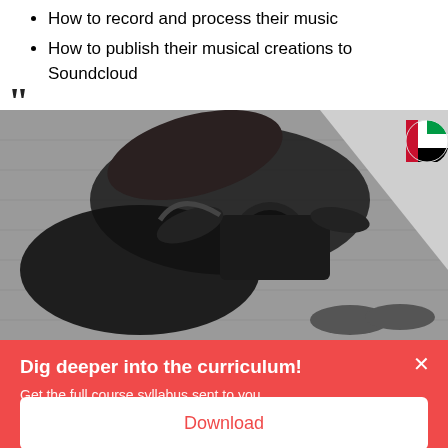How to record and process their music
How to publish their musical creations to Soundcloud
[Figure (photo): Black and white photo of a person lying on a wooden floor holding a camera up toward the viewer, with long hair spread out. A small UAE flag circle badge is visible in the upper right area of the image.]
Dig deeper into the curriculum!
Get the full course syllabus sent to you.
Download